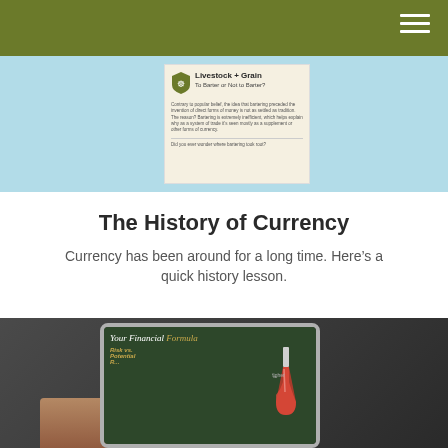[Figure (photo): Infographic card showing 'Livestock + Grain: To Barter or Not to Barter?' on a light blue background]
The History of Currency
Currency has been around for a long time. Here's a quick history lesson.
[Figure (photo): Tablet device displaying 'Your Financial Formula' infographic with a flask graphic, 'Risk vs. Potential Returns' text, on a dark background]